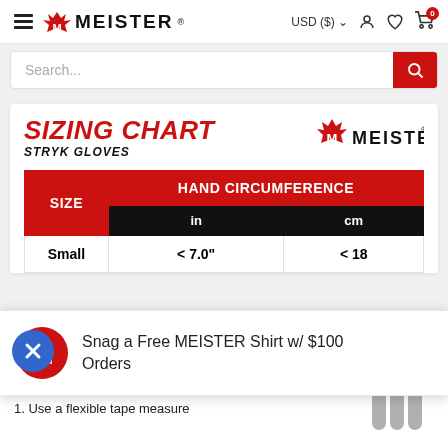MEISTER — USD ($) navigation header with hamburger menu, currency selector, account, wishlist, and cart icons
Search...
SIZING CHART
STRYK GLOVES
[Figure (logo): Meister logo with crown and M emblem in sizing chart header]
| SIZE | HAND CIRCUMFERENCE in | HAND CIRCUMFERENCE cm |
| --- | --- | --- |
| Small | < 7.0" | < 18 |
Snag a Free MEISTER Shirt w/ $100 Orders
INSTRUCTIONS
1. Use a flexible tape measure